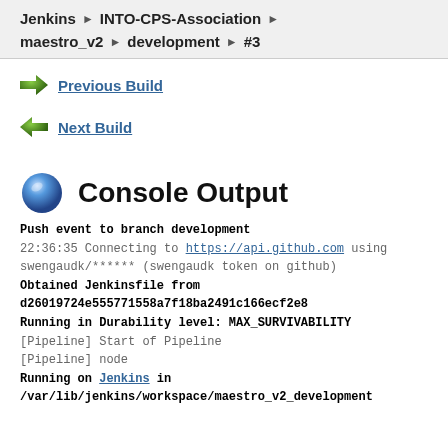Jenkins › INTO-CPS-Association › maestro_v2 › development › #3
Previous Build
Next Build
Console Output
Push event to branch development
22:36:35 Connecting to https://api.github.com using swengaudk/****** (swengaudk token on github)
Obtained Jenkinsfile from d26019724e555771558a7f18ba2491c166ecf2e8
Running in Durability level: MAX_SURVIVABILITY
[Pipeline] Start of Pipeline
[Pipeline] node
Running on Jenkins in
/var/lib/jenkins/workspace/maestro_v2_development